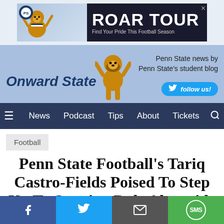[Figure (screenshot): Advertisement banner: Penn State Alumni Association 'ROAR TOUR - Find Your Pride This Football Season' with mascot illustration]
[Figure (screenshot): Onward State website header with mascot logo, tagline 'Penn State news by Penn State's student blog', and Twitter follow button]
News | Podcast | Tips | About | Tickets
Football
Penn State Football’s Tariq Castro-Fields Poised To Step Up To Starting Role Alongside John Reid At Cornerback